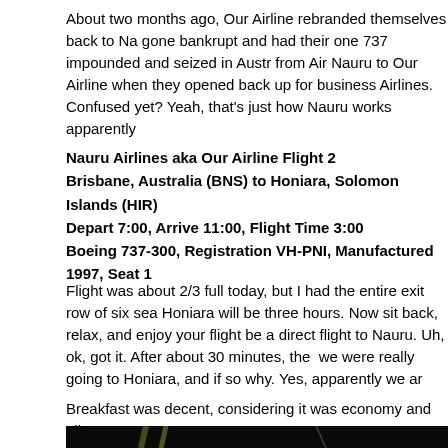About two months ago, Our Airline rebranded themselves back to Na gone bankrupt and had their one 737 impounded and seized in Austr from Air Nauru to Our Airline when they opened back up for business Airlines. Confused yet? Yeah, that's just how Nauru works apparently
Nauru Airlines aka Our Airline Flight 2
Brisbane, Australia (BNS) to Honiara, Solomon Islands (HIR)
Depart 7:00, Arrive 11:00, Flight Time 3:00
Boeing 737-300, Registration VH-PNI, Manufactured 1997, Seat 1
Flight was about 2/3 full today, but I had the entire exit row of six sea Honiara will be three hours. Now sit back, relax, and enjoy your flight be a direct flight to Nauru. Uh, ok, got it. After about 30 minutes, the we were really going to Honiara, and if so why. Yes, apparently we ar
Breakfast was decent, considering it was economy and all:
[Figure (photo): Dark photo of what appears to be an airplane seat tray or meal in low lighting conditions, with green/yellow streaks visible]